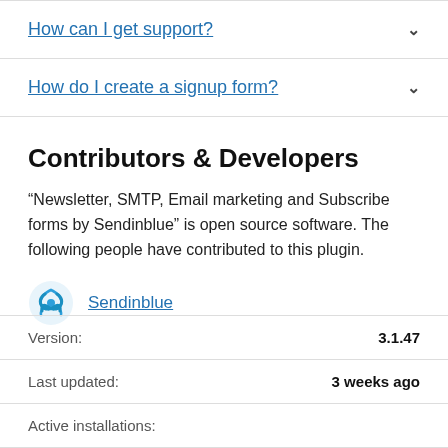How can I get support?
How do I create a signup form?
Contributors & Developers
“Newsletter, SMTP, Email marketing and Subscribe forms by Sendinblue” is open source software. The following people have contributed to this plugin.
Sendinblue
Version: 3.1.47
Last updated: 3 weeks ago
Active installations: